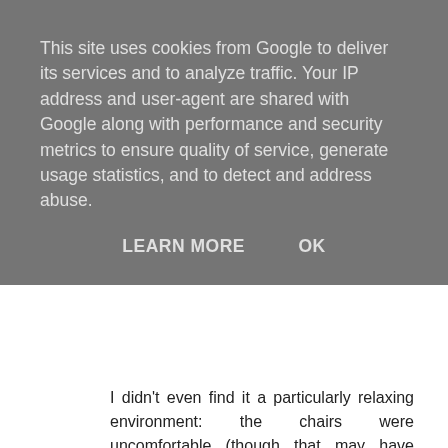This site uses cookies from Google to deliver its services and to analyze traffic. Your IP address and user-agent are shared with Google along with performance and security metrics to ensure quality of service, generate usage statistics, and to detect and address abuse.
LEARN MORE    OK
I didn't even find it a particularly relaxing environment: the chairs were uncomfortable (though that may have been down to my lardy derriere), the decor snoozeworthy and the service less than it should have been - the overenthusiastic wine pouring was very annoying. I didn't even mention the intrusive music which is usually a particular bugbear of mine.
This is obviously a labour of love for Mr van der Horst and his wife (as it damn well should be) and I wish them well, but it just didn't float my boat and I said so. Sorry.
HP
Reply